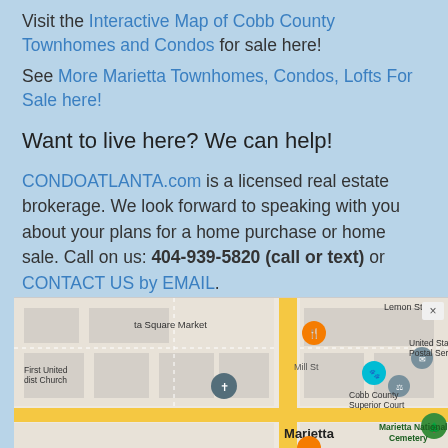Visit the Interactive Map of Cobb County Townhomes and Condos for sale here!
See More Marietta Townhomes, Condos, Lofts For Sale here!
Want to live here? We can help!
CONDOATLANTA.com is a licensed real estate brokerage. We look forward to speaking with you about your plans for a home purchase or home sale. Call on us: 404-939-5820 (call or text) or CONTACT US by EMAIL.
[Figure (map): Google Maps screenshot showing Marietta, GA area with landmarks including Marietta Square Market, First United Methodist Church, Cobb County Superior Court, United States Postal Service, and Marietta National Cemetery. Map shows street grid with Mill St visible.]